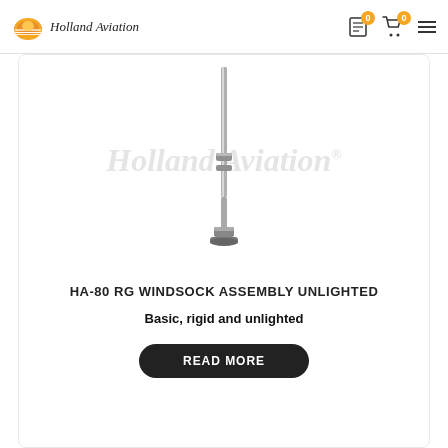Holland Aviation | 0 | 0
[Figure (photo): Tall metallic windsock pole assembly (HA-80 RG), rigid and unlighted, shown vertically against white background with Holland Aviation watermark]
HA-80 RG WINDSOCK ASSEMBLY UNLIGHTED
Basic, rigid and unlighted
READ MORE